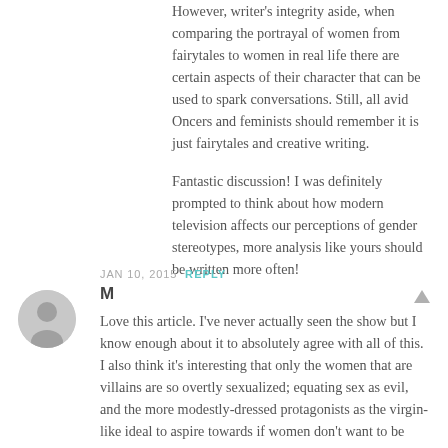However, writer's integrity aside, when comparing the portrayal of women from fairytales to women in real life there are certain aspects of their character that can be used to spark conversations. Still, all avid Oncers and feminists should remember it is just fairytales and creative writing.
Fantastic discussion! I was definitely prompted to think about how modern television affects our perceptions of gender stereotypes, more analysis like yours should be written more often!
JAN 10, 2015  REPLY
M
Love this article. I've never actually seen the show but I know enough about it to absolutely agree with all of this. I also think it's interesting that only the women that are villains are so overtly sexualized; equating sex as evil, and the more modestly-dressed protagonists as the virgin-like ideal to aspire towards if women don't want to be considered evil.